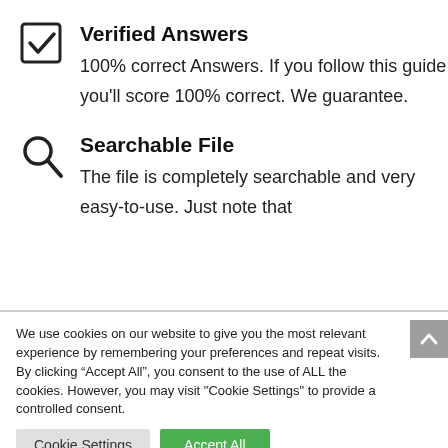Verified Answers
100% correct Answers. If you follow this guide you'll score 100% correct. We guarantee.
Searchable File
The file is completely searchable and very easy-to-use. Just note that
We use cookies on our website to give you the most relevant experience by remembering your preferences and repeat visits. By clicking “Accept All”, you consent to the use of ALL the cookies. However, you may visit "Cookie Settings" to provide a controlled consent.